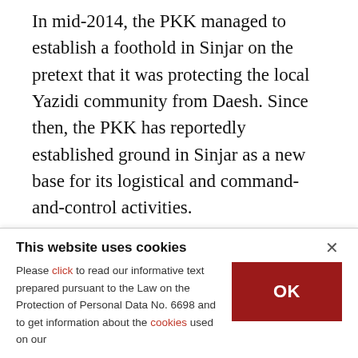In mid-2014, the PKK managed to establish a foothold in Sinjar on the pretext that it was protecting the local Yazidi community from Daesh. Since then, the PKK has reportedly established ground in Sinjar as a new base for its logistical and command-and-control activities.

The United States' ongoing steadfast support to the PKK's Syrian affiliate the People's Protection Units (YPG) and the terrorist organization's subsequent increase in strength in the region have prompted
This website uses cookies

Please click to read our informative text prepared pursuant to the Law on the Protection of Personal Data No. 6698 and to get information about the cookies used on our